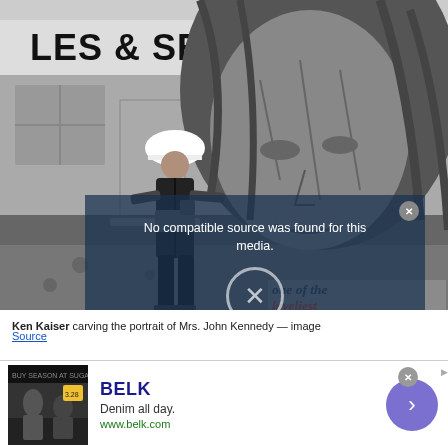[Figure (photo): Black and white photograph of Ken Kaiser carving the portrait of Mrs. John Kennedy, with a man in a hard hat using a chainsaw on a large wooden sculpture of a woman's face, in front of a building with 'ALES & SERV' signage visible]
[Figure (screenshot): Video player overlay with semi-transparent dark blue background showing 'No compatible source was found for this media.' message and an X close button circle, with a close button in the top right corner]
Ken Kaiser carving the portrait of Mrs. John Kennedy — image
Source
[Figure (infographic): Advertisement for BELK with thumbnail image, brand name 'BELK', tagline 'Denim all day.', URL 'www.belk.com', and a purple circular arrow CTA button]